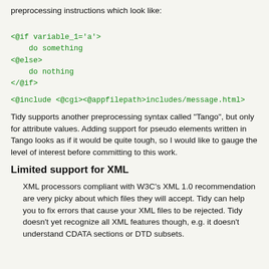preprocessing instructions which look like:
<@if variable_1='a'>
    do something
<@else>
    do nothing
</@if>
<@include <@cgi><@appfilepath>includes/message.html>
Tidy supports another preprocessing syntax called "Tango", but only for attribute values. Adding support for pseudo elements written in Tango looks as if it would be quite tough, so I would like to gauge the level of interest before committing to this work.
Limited support for XML
XML processors compliant with W3C's XML 1.0 recommendation are very picky about which files they will accept. Tidy can help you to fix errors that cause your XML files to be rejected. Tidy doesn't yet recognize all XML features though, e.g. it doesn't understand CDATA sections or DTD subsets.